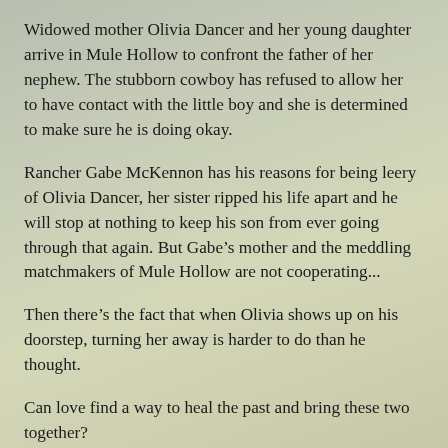Widowed mother Olivia Dancer and her young daughter arrive in Mule Hollow to confront the father of her nephew. The stubborn cowboy has refused to allow her to have contact with the little boy and she is determined to make sure he is doing okay.
Rancher Gabe McKennon has his reasons for being leery of Olivia Dancer, her sister ripped his life apart and he will stop at nothing to keep his son from ever going through that again. But Gabe's mother and the meddling matchmakers of Mule Hollow are not cooperating...
Then there's the fact that when Olivia shows up on his doorstep, turning her away is harder to do than he thought.
Can love find a way to heal the past and bring these two together?